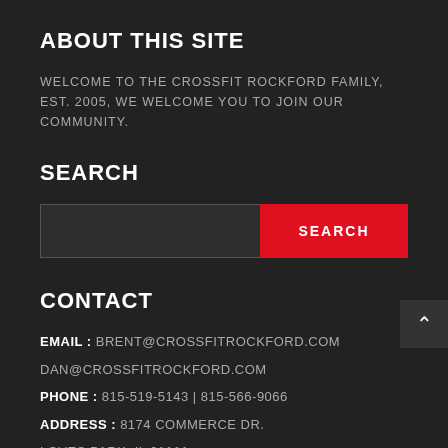ABOUT THIS SITE
WELCOME TO THE CROSSFIT ROCKFORD FAMILY, EST. 2005, WE WELCOME YOU TO JOIN OUR COMMUNITY.
SEARCH
[Figure (other): Search input field with red SEARCH button]
CONTACT
EMAIL : BRENT@CROSSFITROCKFORD.COM
DAN@CROSSFITROCKFORD.COM
PHONE : 815-519-5143 | 815-566-9066
ADDRESS : 8174 COMMERCE DR.
LOVES PARK, IL 61111